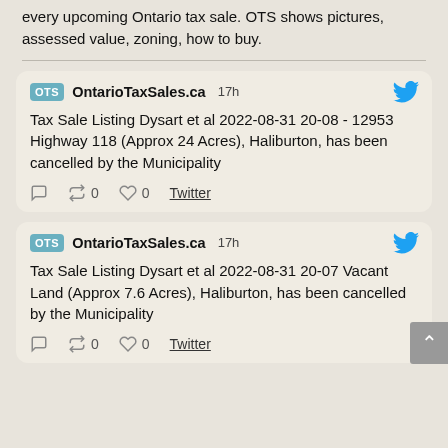every upcoming Ontario tax sale. OTS shows pictures, assessed value, zoning, how to buy.
OntarioTaxSales.ca 17h — Tax Sale Listing Dysart et al 2022-08-31 20-08 - 12953 Highway 118 (Approx 24 Acres), Haliburton, has been cancelled by the Municipality — 0 retweets 0 likes Twitter
OntarioTaxSales.ca 17h — Tax Sale Listing Dysart et al 2022-08-31 20-07 Vacant Land (Approx 7.6 Acres), Haliburton, has been cancelled by the Municipality — 0 retweets 0 likes Twitter